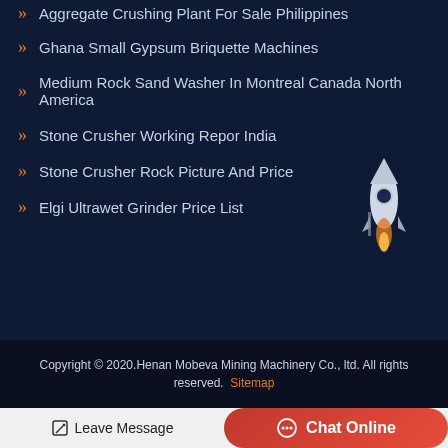Aggregate Crushing Plant For Sale Philippines
Ghana Small Gypsum Briquette Machines
Medium Rock Sand Washer In Montreal Canada North America
Stone Crusher Working Repor India
Stone Crusher Rock Picture And Price
Elgi Ultrawet Grinder Price List
Copyright © 2020.Henan Mobeva Mining Machinery Co., ltd. All rights reserved. Sitemap
Leave Message
Chat Online